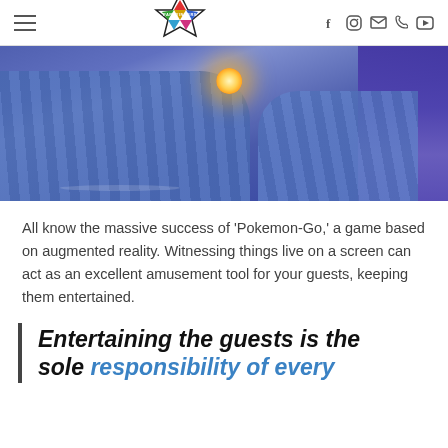PARTYINKERS — navigation header with hamburger menu and social icons
[Figure (photo): Person in plaid blue shirt holding a glowing orange ball, with purple/blue background, arcade or gaming environment]
All know the massive success of 'Pokemon-Go,' a game based on augmented reality. Witnessing things live on a screen can act as an excellent amusement tool for your guests, keeping them entertained.
Entertaining the guests is the sole responsibility of every